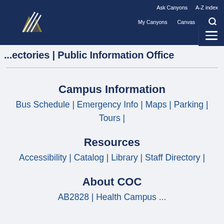Ask Canyons  A-Z index  My Canyons  Canvas
[Figure (logo): College of the Canyons logo with stylized canyon graphic and text]
...ectories | Public Information Office
Campus Information
Bus Schedule | Emergency Info | Maps | Parking | Tours |
Resources
Accessibility | Catalog | Library | Staff Directory |
About COC
AB2828 | Health Campus ...